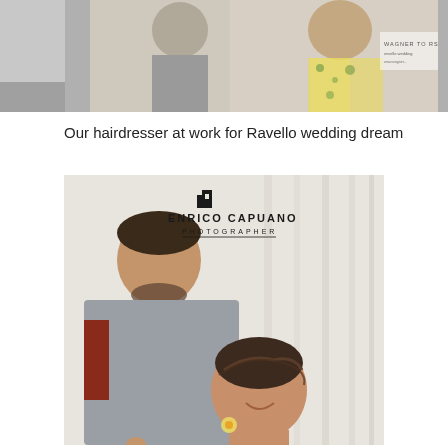[Figure (photo): Partial top photo showing a woman in a floral yellow and white robe, with another person in grey, and a Wagner Tours watermark overlay. Left side shows grey square placeholder boxes.]
Our hairdresser at work for Ravello wedding dream
[Figure (photo): A hairdresser (man in grey shirt) styling the hair of a smiling bride, with curtains in the background. The photo has an Enrico Capuano Photographer watermark logo with a building icon.]